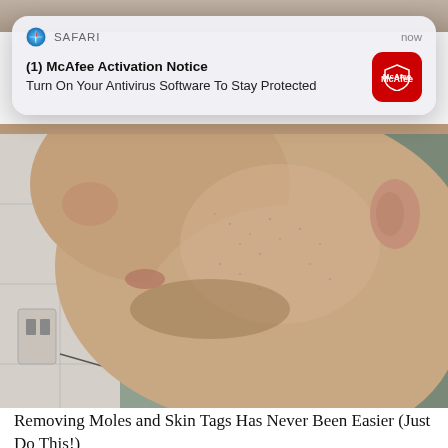[Figure (screenshot): iOS Safari push notification overlay showing McAfee Activation Notice: 'Turn On Your Antivirus Software To Stay Protected' with McAfee red icon, timestamp 'now']
[Figure (photo): Close-up side profile photo of a man's neck and lower jaw area, showing skin texture, in a bathroom setting]
Removing Moles and Skin Tags Has Never Been Easier (Just Do This!)
Trending Stories
[Figure (photo): Partial bottom image, appears to be a medical or anatomical illustration]